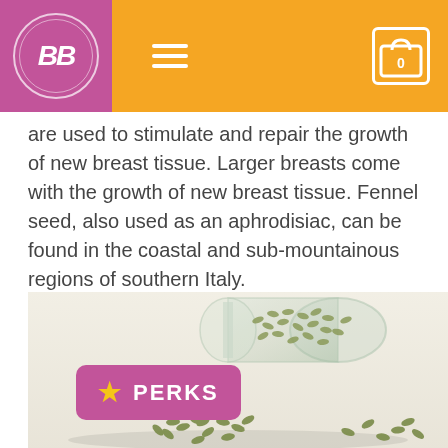BB logo navigation bar with hamburger menu and cart icon showing 0
are used to stimulate and repair the growth of new breast tissue. Larger breasts come with the growth of new breast tissue. Fennel seed, also used as an aphrodisiac, can be found in the coastal and sub-mountainous regions of southern Italy.
[Figure (photo): Photo of fennel seeds spilling out of a glass jar onto a white surface]
PERKS